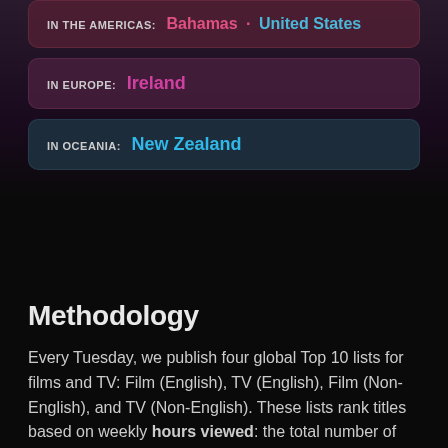IN THE AMERICAS: Bahamas · United States
IN EUROPE: Ireland
IN OCEANIA: New Zealand
Methodology
Every Tuesday, we publish four global Top 10 lists for films and TV: Film (English), TV (English), Film (Non-English), and TV (Non-English). These lists rank titles based on weekly hours viewed: the total number of hours that our members around the world watched each title from Monday to Sunday